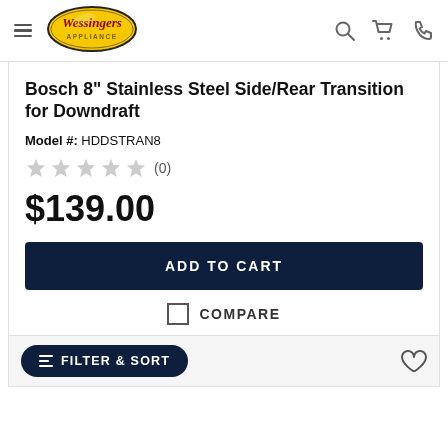[Figure (logo): Wessingers Appliance logo — yellow oval with dark border, red cursive 'Wessingers' text, gold 'APPLIANCE' text below]
Bosch 8" Stainless Steel Side/Rear Transition for Downdraft
Model #: HDDSTRAN8
★★★★★ (0)
$139.00
ADD TO CART
COMPARE
FILTER & SORT